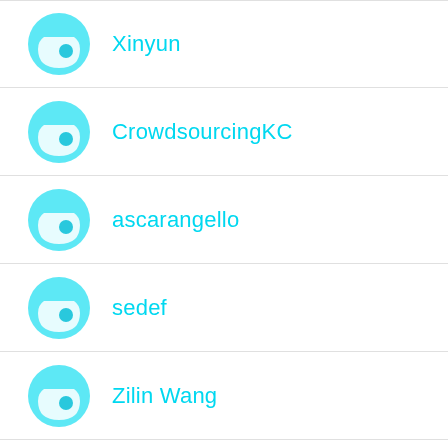Xinyun
CrowdsourcingKC
ascarangello
sedef
Zilin Wang